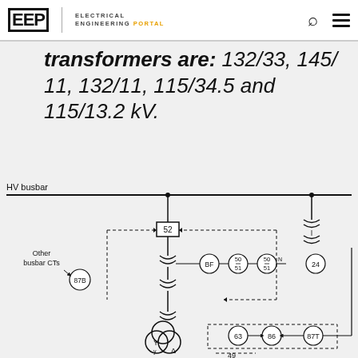EEP | ELECTRICAL ENGINEERING PORTAL
transformers are: 132/33, 145/11, 132/11, 115/34.5 and 115/13.2 kV.
[Figure (schematic): HV busbar substation protection schematic diagram showing circuit breaker (52), busbar CTs, relay nodes (BF, 50/51, 50N/51, 24, 87B, 63, 86, 87T, 49), transformer windings, and interconnecting dashed signal lines]